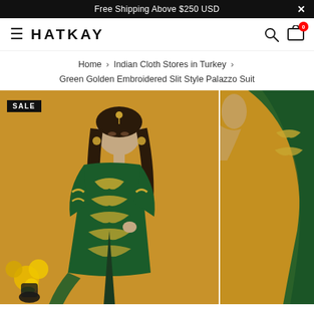Free Shipping Above $250 USD
[Figure (logo): Hatkay website navigation bar with hamburger menu, HATKAY logo, search icon, and cart icon with 0 badge]
Home › Indian Cloth Stores in Turkey › Green Golden Embroidered Slit Style Palazzo Suit
[Figure (photo): Woman wearing a Green Golden Embroidered Slit Style Palazzo Suit on an amber/golden background with yellow flowers, SALE badge in top left corner]
[Figure (photo): Partial second product image showing green dupatta/fabric detail on golden background]